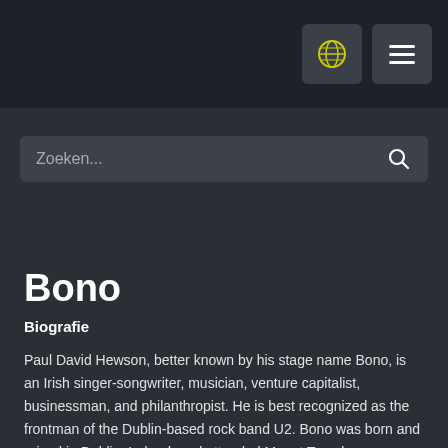Zoeken...
Bono
Biografie
Paul David Hewson, better known by his stage name Bono, is an Irish singer-songwriter, musician, venture capitalist, businessman, and philanthropist. He is best recognized as the frontman of the Dublin-based rock band U2. Bono was born and raised in Dublin, Ireland, and attended Mount Temple Comprehensive School where he met his future wife, Alison Stewart, and the future members of U2. Bono writes almost all U2 lyrics, frequently using religious social